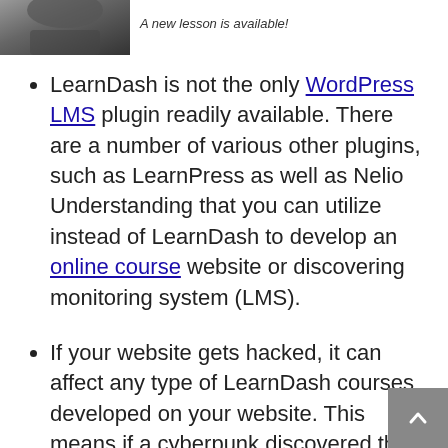[Figure (photo): Partial photo of a hand holding a phone or device, dark tones]
A new lesson is available!
LearnDash is not the only WordPress LMS plugin readily available. There are a number of various other plugins, such as LearnPress as well as Nelio Understanding that you can utilize instead of LearnDash to develop an online course website or discovering monitoring system (LMS).
If your website gets hacked, it can affect any type of LearnDash courses developed on your website. This means if a cyberpunk discovered their method onto your course system's dashboard they